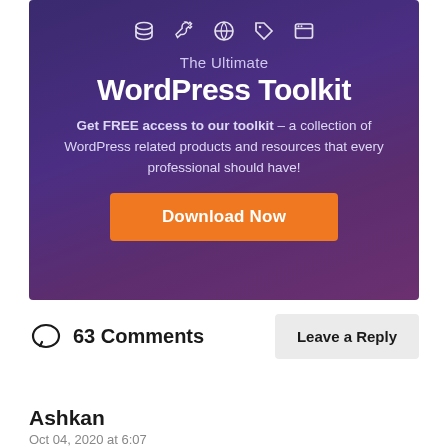[Figure (infographic): Purple gradient banner for The Ultimate WordPress Toolkit. Shows icons at top, title text, description, and orange Download Now button.]
63 Comments
Leave a Reply
Ashkan